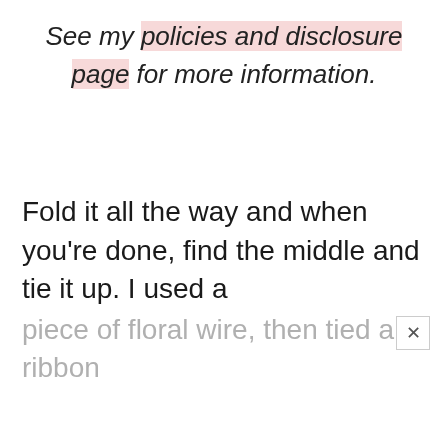See my policies and disclosure page for more information.
Fold it all the way and when you're done, find the middle and tie it up. I used a piece of floral wire, then tied a ribbon